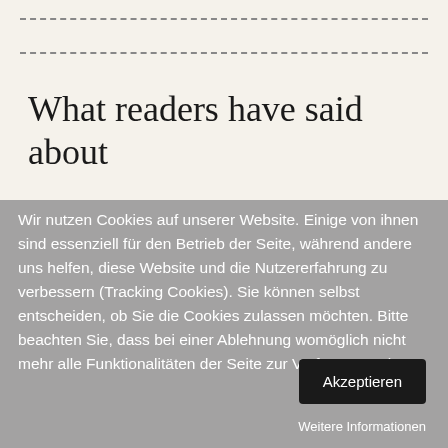What readers have said about
Wir nutzen Cookies auf unserer Website. Einige von ihnen sind essenziell für den Betrieb der Seite, während andere uns helfen, diese Website und die Nutzererfahrung zu verbessern (Tracking Cookies). Sie können selbst entscheiden, ob Sie die Cookies zulassen möchten. Bitte beachten Sie, dass bei einer Ablehnung womöglich nicht mehr alle Funktionalitäten der Seite zur Verfügung stehen.
Akzeptieren
Weitere Informationen